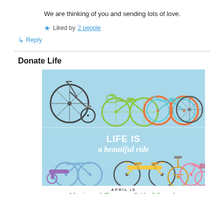We are thinking of you and sending lots of love.
★ Liked by 2 people
↳ Reply
Donate Life
[Figure (illustration): Infographic showing various bicycles (penny-farthing, city bike, road bike, cruiser, tandem, unicycle, pink bike) on a light blue background. Text reads 'LIFE IS a beautiful ride' in white. Below: 'APRIL IS National Donate Life Month — Learn more and register today.' with a Donate Life logo.]